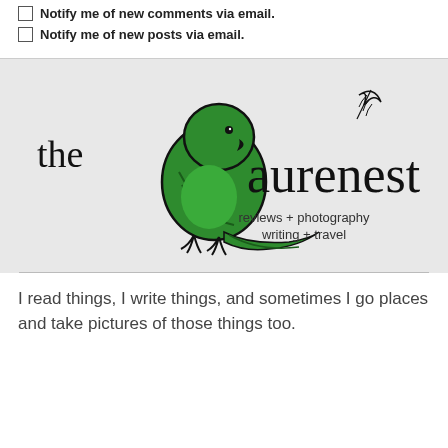Notify me of new comments via email.
Notify me of new posts via email.
[Figure (logo): The Laurenest logo: a hand-drawn green parrot bird with the text 'the laurenest' in casual black handwritten font, with a feather illustration, and tagline 'reviews + photography writing + travel']
I read things, I write things, and sometimes I go places and take pictures of those things too.